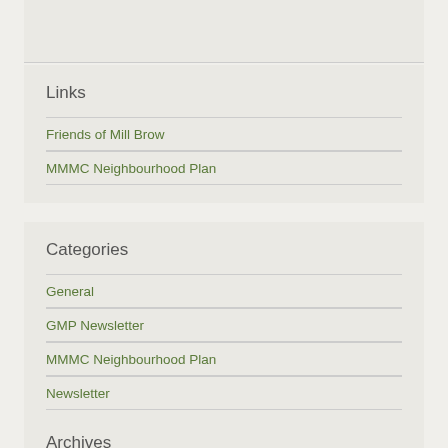Links
Friends of Mill Brow
MMMC Neighbourhood Plan
Categories
General
GMP Newsletter
MMMC Neighbourhood Plan
Newsletter
Archives